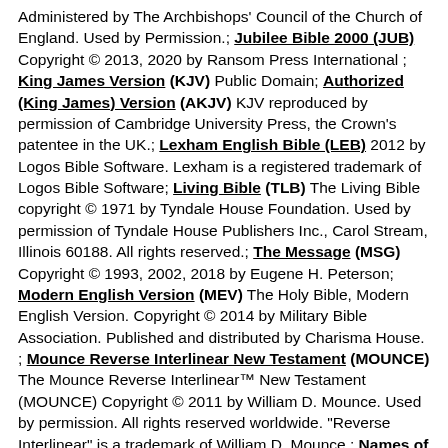Administered by The Archbishops' Council of the Church of England. Used by Permission.; Jubilee Bible 2000 (JUB) Copyright © 2013, 2020 by Ransom Press International ; King James Version (KJV) Public Domain; Authorized (King James) Version (AKJV) KJV reproduced by permission of Cambridge University Press, the Crown's patentee in the UK.; Lexham English Bible (LEB) 2012 by Logos Bible Software. Lexham is a registered trademark of Logos Bible Software; Living Bible (TLB) The Living Bible copyright © 1971 by Tyndale House Foundation. Used by permission of Tyndale House Publishers Inc., Carol Stream, Illinois 60188. All rights reserved.; The Message (MSG) Copyright © 1993, 2002, 2018 by Eugene H. Peterson; Modern English Version (MEV) The Holy Bible, Modern English Version. Copyright © 2014 by Military Bible Association. Published and distributed by Charisma House. ; Mounce Reverse Interlinear New Testament (MOUNCE) The Mounce Reverse Interlinear™ New Testament (MOUNCE) Copyright © 2011 by William D. Mounce. Used by permission. All rights reserved worldwide. "Reverse Interlinear" is a trademark of William D. Mounce.; Names of God Bible (NOG) The Names of God Bible (without notes) © 2011 by Baker Publishing Group. ; New American Bible